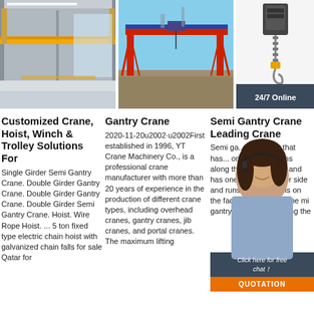[Figure (photo): Interior of a warehouse with yellow overhead crane/gantry rail system]
[Figure (photo): Large red gantry crane on a construction/rail site outdoors]
[Figure (photo): Electric chain hoist with hook hanging, customer service chat overlay with woman wearing headset, 24/7 Online, Click here for free chat!, QUOTATION button]
Customized Crane, Hoist, Winch & Trolley Solutions For
Single Girder Semi Gantry Crane. Double Girder Gantry Crane. Double Girder Gantry Crane. Double Girder Semi Gantry Crane. Hoist. Wire Rope Hoist. ... 5 ton fixed type electric chain hoist with galvanized chain falls for sale Qatar for
Gantry Crane
2020-11-20u2002·u2002First established in 1996, YT Crane Machinery Co., is a professional crane manufacturer with more than 20 years of experience in the production of different crane types, including overhead cranes, gantry cranes, jib cranes, and portal cranes. The maximum lifting
Semi Gantry Crane Leading Crane
Semi ga... a kind o... that has... one side and runs along the ground rails, and has one leg at the other side and runs along the rails on the factory workshop. The mi gantry crane is combining the